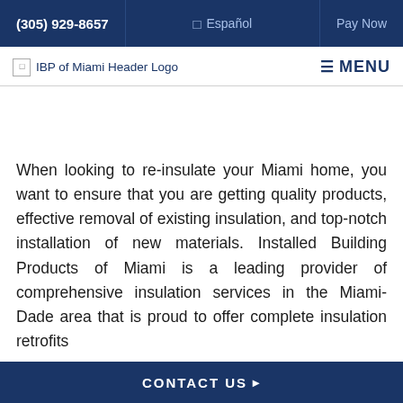(305) 929-8657 | Español | Pay Now
[Figure (logo): IBP of Miami Header Logo with MENU button]
When looking to re-insulate your Miami home, you want to ensure that you are getting quality products, effective removal of existing insulation, and top-notch installation of new materials. Installed Building Products of Miami is a leading provider of comprehensive insulation services in the Miami-Dade area that is proud to offer complete insulation retrofits
CONTACT US